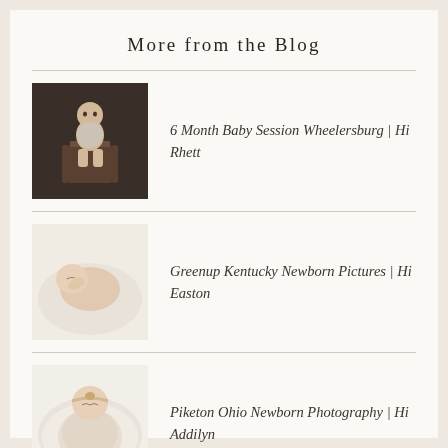More from the Blog
[Figure (photo): Baby/toddler sitting in a wooden high chair against a dark background, sepia-toned photo]
6 Month Baby Session Wheelersburg | Hi Rhett
[Figure (photo): Newborn baby sleeping peacefully on a white blanket, eyes closed, cheek resting on hands]
Greenup Kentucky Newborn Pictures | Hi Easton
[Figure (photo): Newborn baby wrapped in cream/white wrap with headband, lying on fluffy white fur, top-down view]
Piketon Ohio Newborn Photography | Hi Addilyn